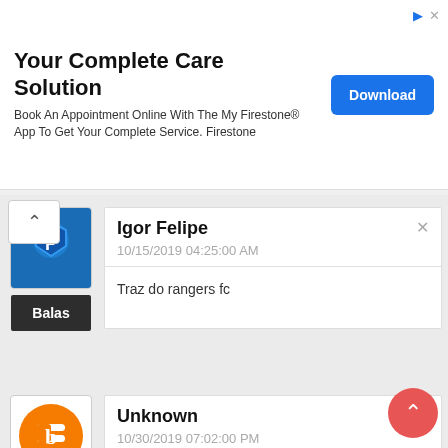[Figure (infographic): Advertisement banner: 'Your Complete Care Solution' with Firestone branding and a blue Download button]
Igor Felipe
10/15/2019 04:25:00 AM
Traz do rangers fc
Unknown
10/30/2019 07:02:00 PM
Please Bro Update Juventus UCL kits And Third Gk Kits Red jersey